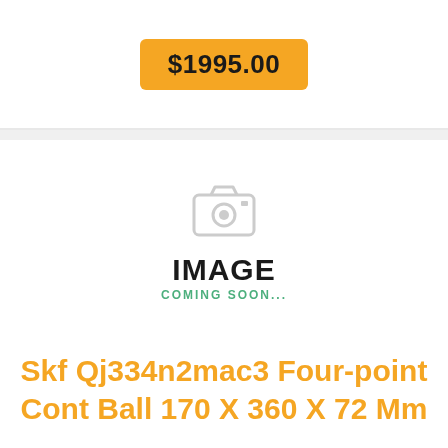$1995.00
[Figure (illustration): Placeholder image with camera icon, bold text IMAGE, and subtitle COMING SOON...]
Skf Qj334n2mac3 Four-point Cont Ball 170 X 360 X 72 Mm